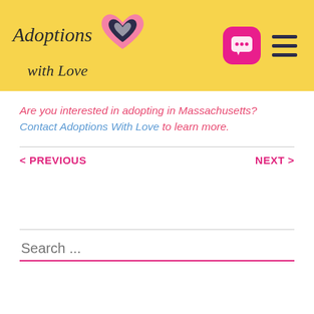[Figure (logo): Adoptions with Love logo — stylized italic text with pink and navy heart icon on yellow header background]
Are you interested in adopting in Massachusetts? Contact Adoptions With Love to learn more.
< PREVIOUS
NEXT >
Search ...